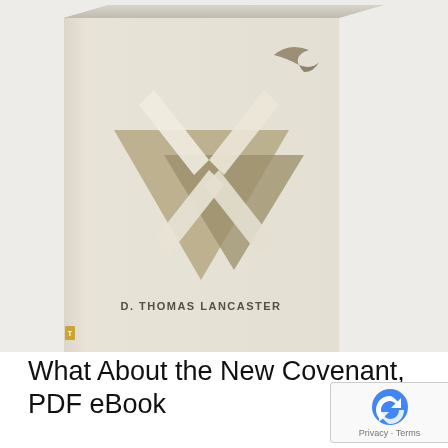[Figure (photo): Book cover of 'What About the New Covenant' by D. Thomas Lancaster — a beige/cream colored hardcover book with abstract triangular mountain and bird motifs in earth tones, shown in a 3D perspective angle. Author name 'D. THOMAS LANCASTER' is printed on the lower portion of the cover.]
What About the New Covenant, PDF eBook
$10.00
Does the New Covenant really replace the Old Covenant? Christian replacement theology is solidly based on a misunderstanding of the meaning of the new covenant. The church teaches that the new covenant cancels the Torah and God's covenant the Jewish people.